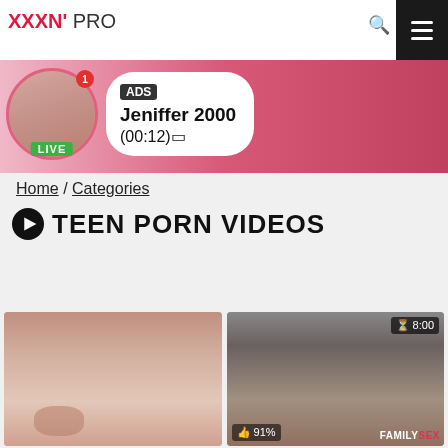XXXN' PRO
[Figure (screenshot): Ad banner with live avatar, LIVE badge, notification badge, ADS label, name Jeniffer 2000, time (00:12)]
Home / Categories
TEEN PORN VIDEOS
[Figure (photo): Left video thumbnail - close-up skin tone image]
[Figure (photo): Right video thumbnail - people on couch, duration 8:00, like rating 91%, FAMILYSEX brand label]